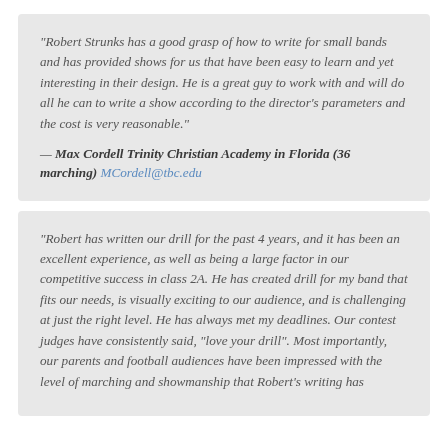“Robert Strunks has a good grasp of how to write for small bands and has provided shows for us that have been easy to learn and yet interesting in their design. He is a great guy to work with and will do all he can to write a show according to the director’s parameters and the cost is very reasonable.”
— Max Cordell Trinity Christian Academy in Florida (36 marching) MCordell@tbc.edu
“Robert has written our drill for the past 4 years, and it has been an excellent experience, as well as being a large factor in our competitive success in class 2A. He has created drill for my band that fits our needs, is visually exciting to our audience, and is challenging at just the right level. He has always met my deadlines. Our contest judges have consistently said, “love your drill”. Most importantly, our parents and football audiences have been impressed with the level of marching and showmanship that Robert’s writing has